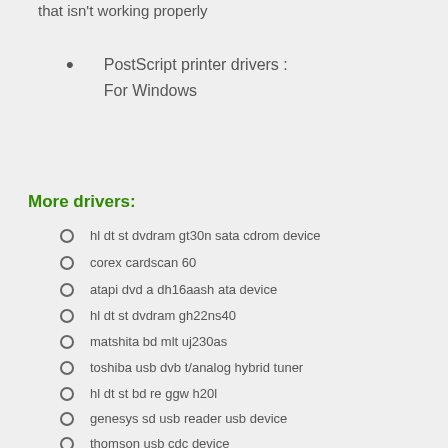that isn't working properly
PostScript printer drivers : For Windows
More drivers:
hl dt st dvdram gt30n sata cdrom device
corex cardscan 60
atapi dvd a dh16aash ata device
hl dt st dvdram gh22ns40
matshita bd mlt uj230as
toshiba usb dvb t/analog hybrid tuner
hl dt st bd re ggw h20l
genesys sd usb reader usb device
thomson usb cdc device